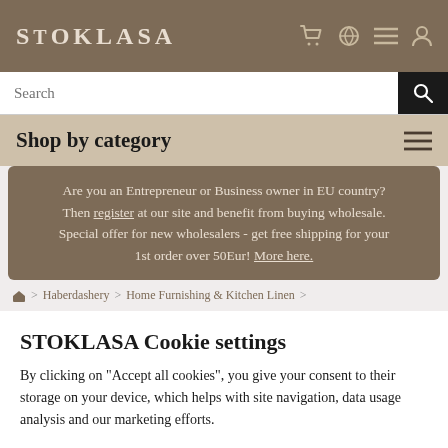STOKLASA
[Figure (screenshot): Search bar with magnifying glass icon]
Shop by category
Are you an Entrepreneur or Business owner in EU country? Then register at our site and benefit from buying wholesale. Special offer for new wholesalers - get free shipping for your 1st order over 50Eur! More here.
🏠 > Haberdashery > Home Furnishing & Kitchen Linen >
STOKLASA Cookie settings
By clicking on "Accept all cookies", you give your consent to their storage on your device, which helps with site navigation, data usage analysis and our marketing efforts.
Cookie settings    Accept all cookies